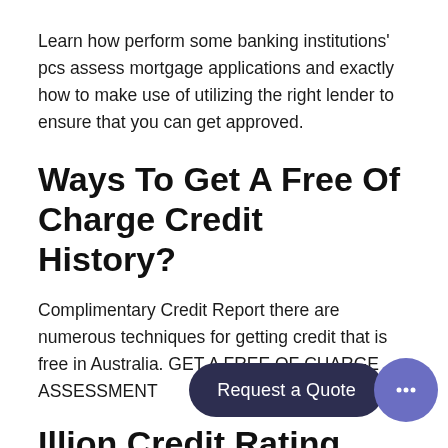Learn how perform some banking institutions' pcs assess mortgage applications and exactly how to make use of utilizing the right lender to ensure that you can get approved.
Ways To Get A Free Of Charge Credit History?
Complimentary Credit Report there are numerous techniques for getting credit that is free in Australia. GET A FREE OF CHARGE ASSESSMENT
Illion Credit Rating
A glance at just how your Illion credit rating imp your property loan approval possibilities? In addition